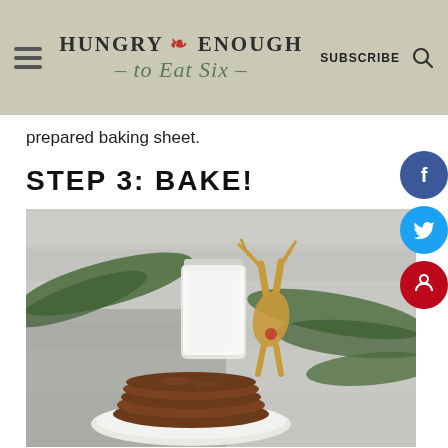Hungry Enough to Eat Six — SUBSCRIBE [search icon]
prepared baking sheet.
STEP 3: BAKE!
[Figure (photo): Stack of round gingerbread cookies on a white plate, a glass jar of milk, a toy reindeer figurine, and pine branches arranged on a rustic white wooden surface.]